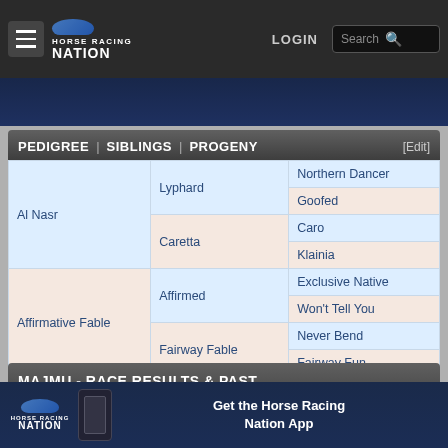Horse Racing Nation - LOGIN - Search
| PEDIGREE | SIBLINGS | PROGENY |
| --- | --- | --- |
| Al Nasr | Lyphard | Northern Dancer |
| Al Nasr | Lyphard | Goofed |
| Al Nasr | Caretta | Caro |
| Al Nasr | Caretta | Klainia |
| Affirmative Fable | Affirmed | Exclusive Native |
| Affirmative Fable | Affirmed | Won't Tell You |
| Affirmative Fable | Fairway Fable | Never Bend |
| Affirmative Fable | Fairway Fable | Fairway Fun |
MAJMU - RACE RESULTS & PAST PERFORMANCES [Add Race Result][Add Horse]
| Date | Horse | Fin | Tr | Dist. | Sf. | Race | Cnd | 1st | 2nd | 3rd |
| --- | --- | --- | --- | --- | --- | --- | --- | --- | --- | --- |
[Figure (logo): Horse Racing Nation app advertisement banner]